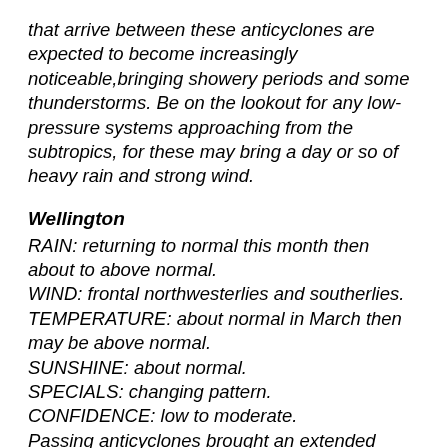that arrive between these anticyclones are expected to become increasingly noticeable,bringing showery periods and some thunderstorms. Be on the lookout for any low-pressure systems approaching from the subtropics, for these may bring a day or so of heavy rain and strong wind.
Wellington
RAIN: returning to normal this month then about to above normal. WIND: frontal northwesterlies and southerlies. TEMPERATURE: about normal in March then may be above normal. SUNSHINE: about normal. SPECIALS: changing pattern. CONFIDENCE: low to moderate. Passing anticyclones brought an extended period of dry weather during February,but should become